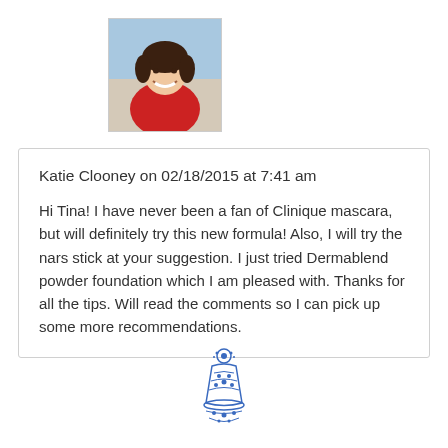[Figure (photo): Profile photo of a smiling woman wearing a red top, square thumbnail]
Katie Clooney on 02/18/2015 at 7:41 am
Hi Tina! I have never been a fan of Clinique mascara, but will definitely try this new formula! Also, I will try the nars stick at your suggestion. I just tried Dermablend powder foundation which I am pleased with. Thanks for all the tips. Will read the comments so I can pick up some more recommendations.
[Figure (logo): Blue decorative illustration, possibly a floral or figurine motif in blue ink, partially visible at bottom]